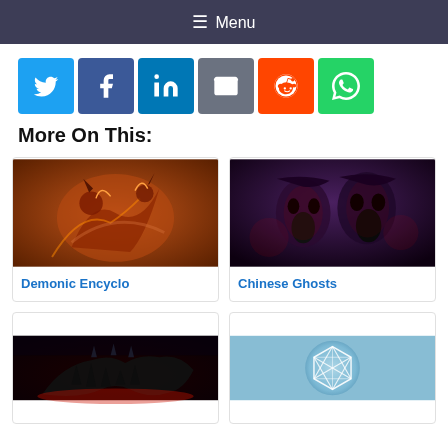Menu
[Figure (infographic): Social share buttons row: Twitter (blue), Facebook (dark blue), LinkedIn (blue), Email (grey), Reddit (orange), WhatsApp (green)]
More On This:
[Figure (illustration): Demonic encyclopedia illustration: chaotic fantasy demons fighting]
Demonic Encyclo
[Figure (photo): Chinese Ghosts: dark image of screaming ghoulish figures]
Chinese Ghosts
[Figure (photo): Dark artistic image of wolf silhouette with forest and red sky]
[Figure (illustration): Pale blue circular diagram with geometric star/polygon pattern]